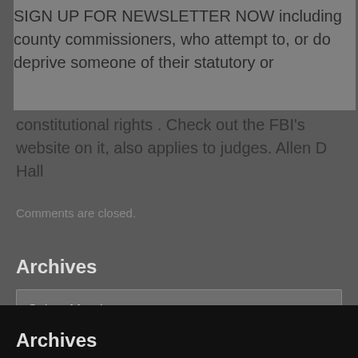SIGN UP FOR NEWSLETTER NOW including county commissioners, who attempt to, or do deprive someone of their statutory or constitutional rights . Check out the FBI's website on it, also applies to judges. Allen D Hall
Comments are closed.
Archives
Select Month
Archives